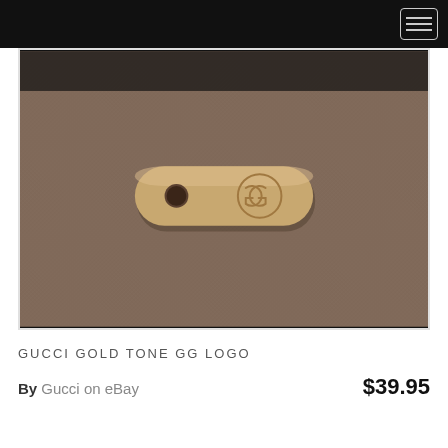[Figure (photo): A gold-tone metal hardware piece with rounded rectangular shape, featuring a circular hole on the left and an engraved Gucci GG interlocking logo on the right, photographed on a beige fabric background.]
GUCCI GOLD TONE GG LOGO
By Gucci on eBay $39.95